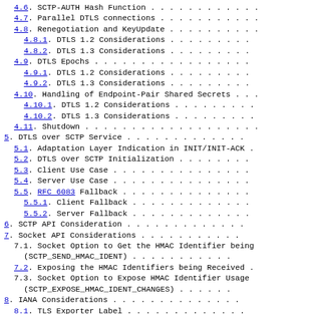4.6. SCTP-AUTH Hash Function . . . . . . . . . . . .
4.7. Parallel DTLS connections . . . . . . . . . . .
4.8. Renegotiation and KeyUpdate . . . . . . . . . .
4.8.1. DTLS 1.2 Considerations . . . . . . . . .
4.8.2. DTLS 1.3 Considerations . . . . . . . . .
4.9. DTLS Epochs . . . . . . . . . . . . . . . . .
4.9.1. DTLS 1.2 Considerations . . . . . . . . .
4.9.2. DTLS 1.3 Considerations . . . . . . . . .
4.10. Handling of Endpoint-Pair Shared Secrets . . .
4.10.1. DTLS 1.2 Considerations . . . . . . . . .
4.10.2. DTLS 1.3 Considerations . . . . . . . . .
4.11. Shutdown . . . . . . . . . . . . . . . . . . .
5. DTLS over SCTP Service . . . . . . . . . . . . .
5.1. Adaptation Layer Indication in INIT/INIT-ACK .
5.2. DTLS over SCTP Initialization . . . . . . . .
5.3. Client Use Case . . . . . . . . . . . . . . .
5.4. Server Use Case . . . . . . . . . . . . . . .
5.5. RFC 6083 Fallback . . . . . . . . . . . . . .
5.5.1. Client Fallback . . . . . . . . . . . . .
5.5.2. Server Fallback . . . . . . . . . . . . .
6. SCTP API Consideration . . . . . . . . . . . . .
7. Socket API Considerations . . . . . . . . . . .
7.1. Socket Option to Get the HMAC Identifier being
(SCTP_SEND_HMAC_IDENT) . . . . . . . . . . .
7.2. Exposing the HMAC Identifiers being Received .
7.3. Socket Option to Expose HMAC Identifier Usage
(SCTP_EXPOSE_HMAC_IDENT_CHANGES) . . . . . .
8. IANA Considerations . . . . . . . . . . . . . .
8.1. TLS Exporter Label . . . . . . . . . . . . .
8.2. SCTP Adaptation Layer Indication Code Point